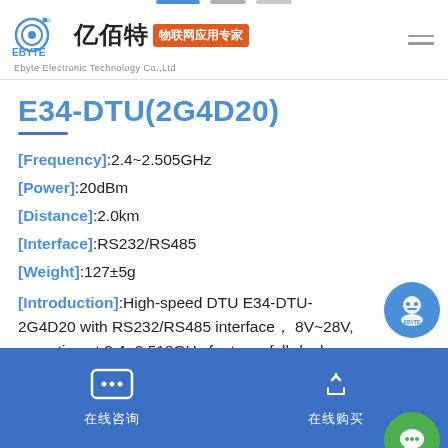[Figure (logo): EBYTE logo with Chinese text '亿佰特' and orange badge '物联网应用专家', plus Ebyte Electronic Technology Co.,Ltd subtitle]
E34-DTU(2G4D20)
[Frequency]:2.4~2.505GHz
[Power]:20dBm
[Distance]:2.0km
[Interface]:RS232/RS485
[Weight]:127±5g
[Introduction]:High-speed DTU E34-DTU-2G4D20 with RS232/RS485 interface， 8V~28V, operating at 2.4~2.518GHz features full-duplex, unlimited package length, concentrated
在线咨询  在线购买